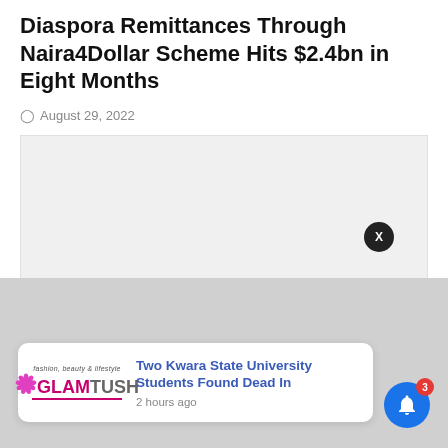Diaspora Remittances Through Naira4Dollar Scheme Hits $2.4bn in Eight Months
August 29, 2022
[Figure (other): Large image placeholder area (light gray rectangle), article image not loaded]
Two Kwara State University Students Found Dead In
2 hours ago